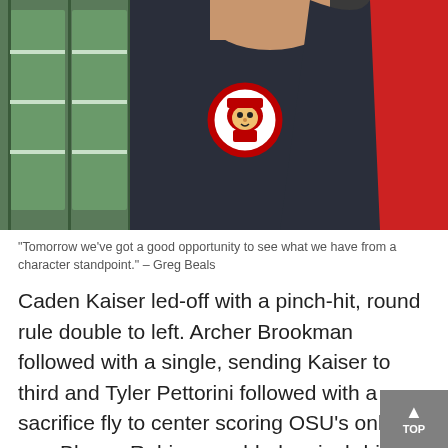[Figure (photo): Close-up photo of a person wearing a dark gray athletic jacket with an Ohio State Buckeyes logo (Brutus Buckeye head in red/white) on the chest, with red fabric visible on the right side and green background on the left.]
"Tomorrow we've got a good opportunity to see what we have from a character standpoint." – Greg Beals
Caden Kaiser led-off with a pinch-hit, round rule double to left. Archer Brookman followed with a single, sending Kaiser to third and Tyler Pettorini followed with a sacrifice fly to center scoring OSU's only run. Blayne Robinson added a pinch-hit single through the right side of the infield, but the rally went no further, the inning ending with back-to-back